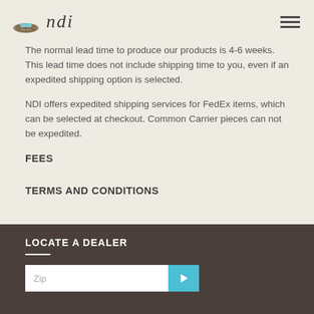ndi
The normal lead time to produce our products is 4-6 weeks. This lead time does not include shipping time to you, even if an expedited shipping option is selected.
NDI offers expedited shipping services for FedEx items, which can be selected at checkout. Common Carrier pieces can not be expedited.
FEES
TERMS AND CONDITIONS
LOCATE A DEALER